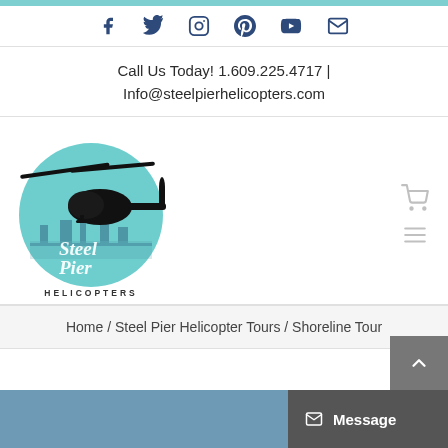Social media icons: Facebook, Twitter, Instagram, Pinterest, YouTube, Email
Call Us Today! 1.609.225.4717 | Info@steelpierhelicopters.com
[Figure (logo): Steel Pier Helicopters logo: circular teal background with helicopter silhouette and 'Steel Pier Helicopters' text]
Home / Steel Pier Helicopter Tours / Shoreline Tour